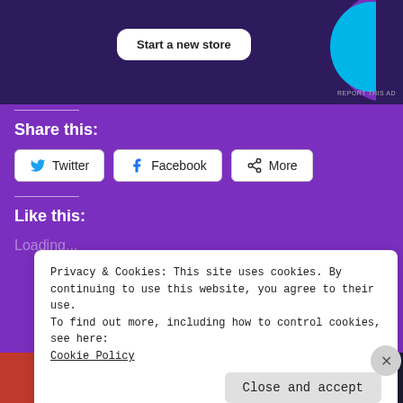[Figure (screenshot): Advertisement banner with 'Start a new store' button on dark purple background with cyan graphic shape]
Share this:
[Figure (screenshot): Share buttons: Twitter, Facebook, More]
Like this:
Loading...
Privacy & Cookies: This site uses cookies. By continuing to use this website, you agree to their use.
To find out more, including how to control cookies, see here: Cookie Policy
[Figure (screenshot): Bottom advertisement: Search, browse, and email with more privacy. DuckDuckGo logo.]